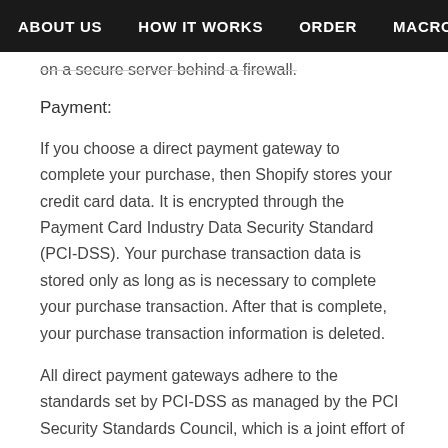ABOUT US   HOW IT WORKS   ORDER   MACROS   DE...
on a secure server behind a firewall.
Payment:
If you choose a direct payment gateway to complete your purchase, then Shopify stores your credit card data. It is encrypted through the Payment Card Industry Data Security Standard (PCI-DSS). Your purchase transaction data is stored only as long as is necessary to complete your purchase transaction. After that is complete, your purchase transaction information is deleted.
All direct payment gateways adhere to the standards set by PCI-DSS as managed by the PCI Security Standards Council, which is a joint effort of brands like Visa, MasterCard, American Express and Discover.
PCI-DSS requirements help ensure the secure handling of